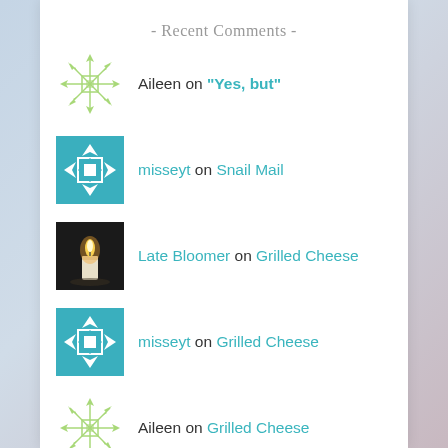- Recent Comments -
Aileen on “Yes, but”
misseyt on Snail Mail
Late Bloomer on Grilled Cheese
misseyt on Grilled Cheese
Aileen on Grilled Cheese
- Archives -